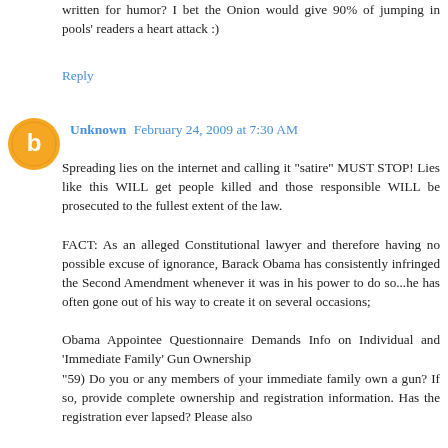written for humor? I bet the Onion would give 90% of jumping in pools' readers a heart attack :)
Reply
[Figure (illustration): Orange circular blogger avatar icon with white B letter]
Unknown February 24, 2009 at 7:30 AM
Spreading lies on the internet and calling it "satire" MUST STOP! Lies like this WILL get people killed and those responsible WILL be prosecuted to the fullest extent of the law.

FACT: As an alleged Constitutional lawyer and therefore having no possible excuse of ignorance, Barack Obama has consistently infringed the Second Amendment whenever it was in his power to do so...he has often gone out of his way to create it on several occasions;

Obama Appointee Questionnaire Demands Info on Individual and 'Immediate Family' Gun Ownership
"59) Do you or any members of your immediate family own a gun? If so, provide complete ownership and registration information. Has the registration ever lapsed? Please also